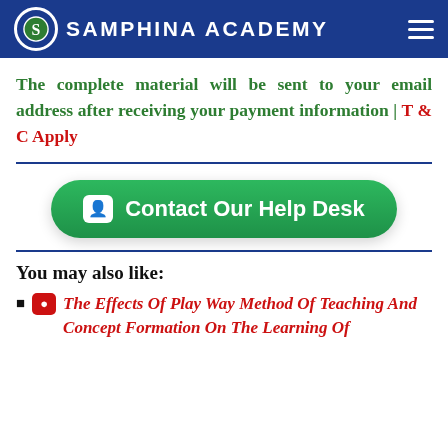SAMPHINA ACADEMY
The complete material will be sent to your email address after receiving your payment information | T & C Apply
[Figure (other): Contact Our Help Desk button (green rounded button with user icon)]
You may also like:
The Effects Of Play Way Method Of Teaching And Concept Formation On The Learning Of